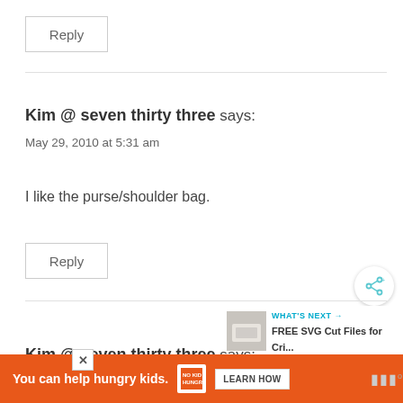Reply
Kim @ seven thirty three says:
May 29, 2010 at 5:31 am
I like the purse/shoulder bag.
Reply
WHAT'S NEXT → FREE SVG Cut Files for Cri...
Kim @ seven thirty three says:
You can help hungry kids. NOKID HUNGRY LEARN HOW